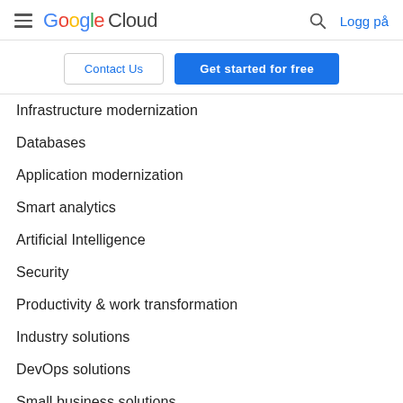Google Cloud — Logg på
Contact Us
Get started for free
Infrastructure modernization
Databases
Application modernization
Smart analytics
Artificial Intelligence
Security
Productivity & work transformation
Industry solutions
DevOps solutions
Small business solutions
See all solutions